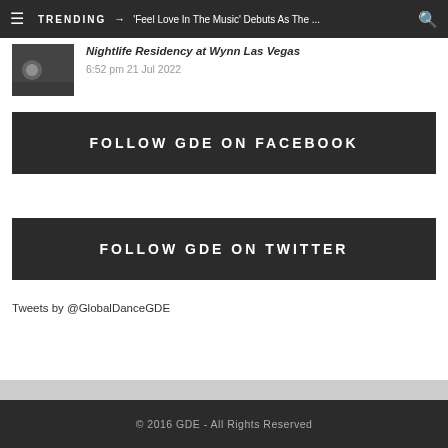TRENDING → 'Feel Love In The Music' Debuts As The ...
Nightlife Residency at Wynn Las Vegas
6:52 pm 21 Jul 2022
FOLLOW GDE ON FACEBOOK
FOLLOW GDE ON TWITTER
Tweets by @GlobalDanceGDE
© 2016 GDE - All Rights Reserved